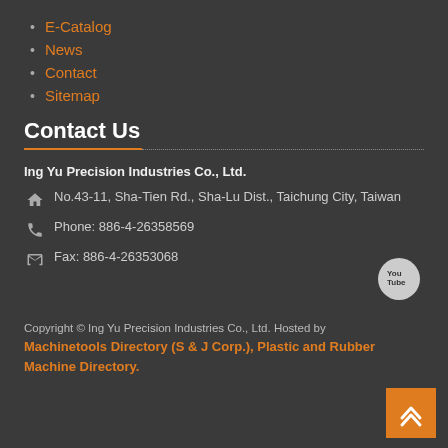E-Catalog
News
Contact
Sitemap
Contact Us
Ing Yu Precision Industries Co., Ltd.
No.43-11, Sha-Tien Rd., Sha-Lu Dist., Taichung City, Taiwan
Phone: 886-4-26358569
Fax: 886-4-26353068
[Figure (logo): YouTube logo button in circular grey background]
Copyright © Ing Yu Precision Industries Co., Ltd. Hosted by Machinetools Directory (S & J Corp.), Plastic and Rubber Machine Directory.
[Figure (other): Back to top arrow button in orange square]